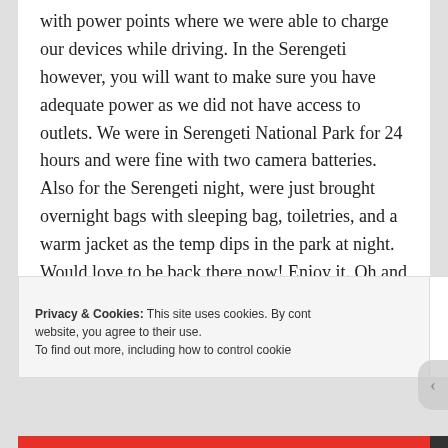with power points where we were able to charge our devices while driving. In the Serengeti however, you will want to make sure you have adequate power as we did not have access to outlets. We were in Serengeti National Park for 24 hours and were fine with two camera batteries. Also for the Serengeti night, were just brought overnight bags with sleeping bag, toiletries, and a warm jacket as the temp dips in the park at night. Would love to be back there now! Enjoy it. Oh and the game drive in the park is in the small pop-top jeeps, not the overland truck.
Privacy & Cookies: This site uses cookies. By continuing to use this website, you agree to their use.
To find out more, including how to control cookies, see here:
Close and accept